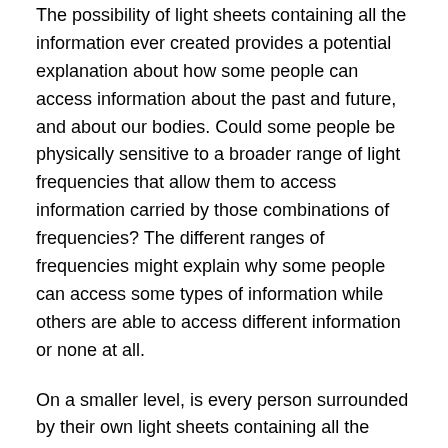The possibility of light sheets containing all the information ever created provides a potential explanation about how some people can access information about the past and future, and about our bodies. Could some people be physically sensitive to a broader range of light frequencies that allow them to access information carried by those combinations of frequencies? The different ranges of frequencies might explain why some people can access some types of information while others are able to access different information or none at all.
On a smaller level, is every person surrounded by their own light sheets containing all the information their body and their being has ever generated? Does it stop there or does every organ have its own light sheets, and every cell, and every particle?